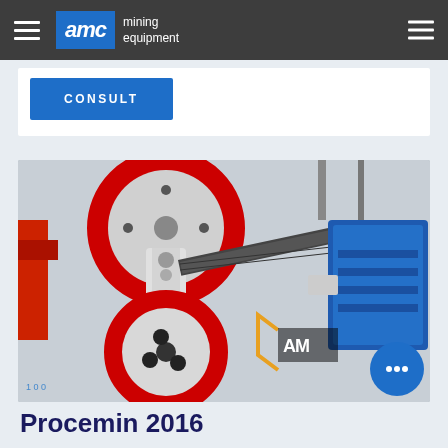AMC mining equipment
CONSULT
[Figure (photo): Close-up photo of mining equipment showing red and white pulleys/wheels with a belt drive system and a blue electric motor on the right, with AMC branding visible]
Procemin 2016